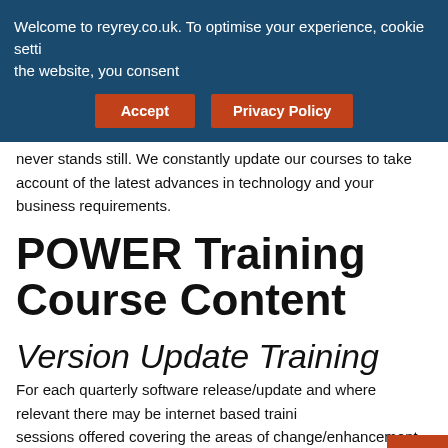Welcome to reyrey.co.uk. To optimise your experience, cookie settings the website, you consent
Accept
Privacy Policy
never stands still. We constantly update our courses to take account of the latest advances in technology and your business requirements.
POWER Training Course Content
Version Update Training
For each quarterly software release/update and where relevant there may be internet based training sessions offered covering the areas of change/enhancement. On occasion, the changes may
Top